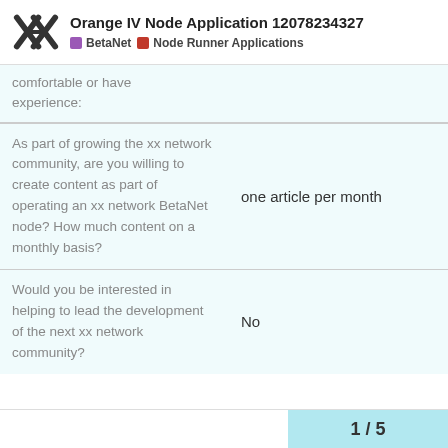Orange IV Node Application 12078234327 — BetaNet / Node Runner Applications
comfortable or have experience:
| Question | Answer |
| --- | --- |
| As part of growing the xx network community, are you willing to create content as part of operating an xx network BetaNet node? How much content on a monthly basis? | one article per month |
| Would you be interested in helping to lead the development of the next xx network community? | No |
1 / 5